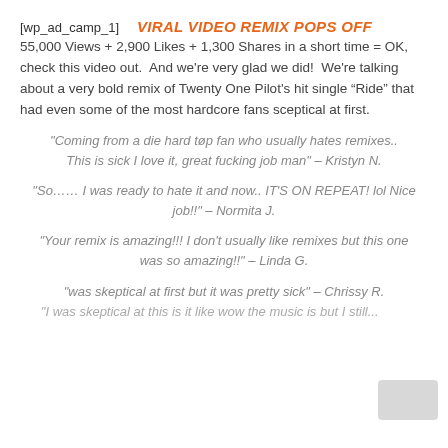[wp_ad_camp_1]   VIRAL VIDEO REMIX POPS OFF
55,000 Views + 2,900 Likes + 1,300 Shares in a short time = OK, check this video out.  And we're very glad we did!  We're talking about a very bold remix of Twenty One Pilot's hit single “Ride” that had even some of the most hardcore fans sceptical at first.
"Coming from a die hard tøp fan who usually hates remixes.. This is sick I love it, great fucking job man" – Kristyn N.
"So…… I was ready to hate it and now.. IT'S ON REPEAT! lol Nice job!!" – Normita J.
"Your remix is amazing!!! I don't usually like remixes but this one was so amazing!!" – Linda G.
"was skeptical at first but it was pretty sick" – Chrissy R.
"I was skeptical at this is it like wow the music is but I still..."